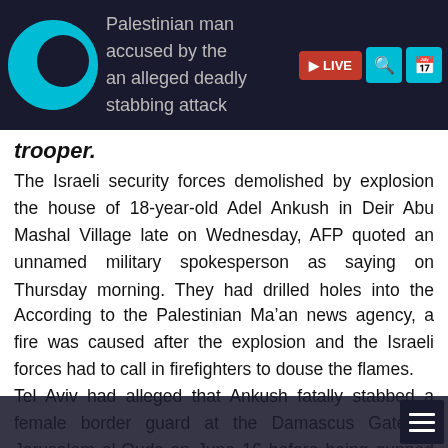Palestinian man accused by the [Israeli military] an alleged deadly stabbing attack [on a] trooper.
trooper.
The Israeli security forces demolished by explosion the house of 18-year-old Adel Ankush in Deir Abu Mashal Village late on Wednesday, AFP quoted an unnamed military spokesperson as saying on Thursday morning. They had drilled holes into the walls of the house and inserted explosives into them a few hours earlier.
According to the Palestinian Ma’an news agency, a fire was caused after the explosion and the Israeli forces had to call in firefighters to douse the flames.
Tel Aviv had alleged that Ankush fatally stabbed a female border guard at the Damascus Gate in Jerusalem al-Quds on June 16 before being gunned down.
Ankush’s home had been sealed by security forces last week.